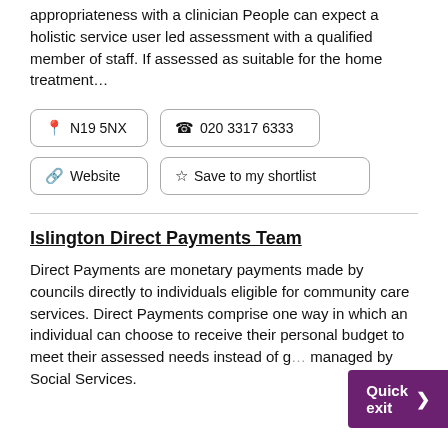appropriateness with a clinician People can expect a holistic service user led assessment with a qualified member of staff. If assessed as suitable for the home treatment...
N19 5NX
020 3317 6333
Website
Save to my shortlist
Islington Direct Payments Team
Direct Payments are monetary payments made by councils directly to individuals eligible for community care services. Direct Payments comprise one way in which an individual can choose to receive their personal budget to meet their assessed needs instead of g... managed by Social Services.
Quick exit >